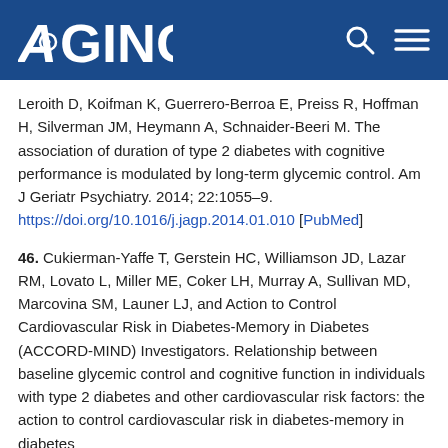AGING
Leroith D, Koifman K, Guerrero-Berroa E, Preiss R, Hoffman H, Silverman JM, Heymann A, Schnaider-Beeri M. The association of duration of type 2 diabetes with cognitive performance is modulated by long-term glycemic control. Am J Geriatr Psychiatry. 2014; 22:1055–9. https://doi.org/10.1016/j.jagp.2014.01.010 [PubMed]
46. Cukierman-Yaffe T, Gerstein HC, Williamson JD, Lazar RM, Lovato L, Miller ME, Coker LH, Murray A, Sullivan MD, Marcovina SM, Launer LJ, and Action to Control Cardiovascular Risk in Diabetes-Memory in Diabetes (ACCORD-MIND) Investigators. Relationship between baseline glycemic control and cognitive function in individuals with type 2 diabetes and other cardiovascular risk factors: the action to control cardiovascular risk in diabetes-memory in diabetes